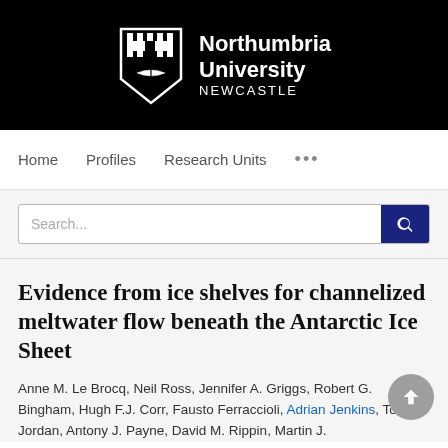[Figure (logo): Northumbria University Newcastle logo: shield crest with castle and open book, white text on black background]
Home   Profiles   Research Units   ...
Search...
Evidence from ice shelves for channelized meltwater flow beneath the Antarctic Ice Sheet
Anne M. Le Brocq, Neil Ross, Jennifer A. Griggs, Robert G. Bingham, Hugh F.J. Corr, Fausto Ferraccioli, Adrian Jenkins, Tom A. Jordan, Antony J. Payne, David M. Rippin, Martin J.